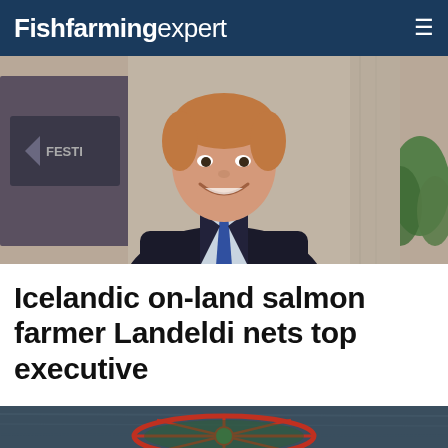Fishfarming expert
[Figure (photo): Portrait photo of a smiling middle-aged man with red/blond hair wearing a dark suit and blue tie, seated in a corporate office setting with a FESTI logo visible in the background and a green plant on the right.]
Icelandic on-land salmon farmer Landeldi nets top executive
[Figure (photo): Aerial or sea-level photo of what appears to be a circular fish farming structure/pen in open water, viewed from above or at water level, showing a red/orange frame structure with green netting.]